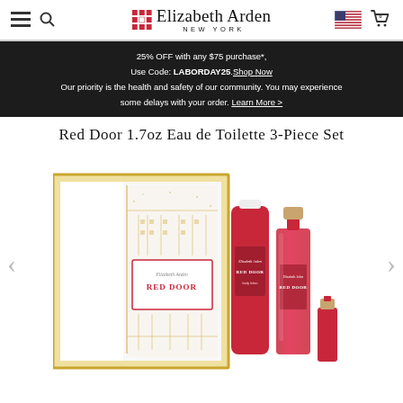Elizabeth Arden New York - navigation header with hamburger menu, search, logo, US flag, and cart icon
25% OFF with any $75 purchase*, Use Code: LABORDAY25. Shop Now. Our priority is the health and safety of our community. You may experience some delays with your order. Learn More >
Red Door 1.7oz Eau de Toilette 3-Piece Set
[Figure (photo): Elizabeth Arden Red Door 1.7oz Eau de Toilette 3-Piece Set product photo showing a gift box with architectural print design, a red body lotion tube, a glass perfume bottle with rose-gold cap, and a small red mini fragrance bottle]